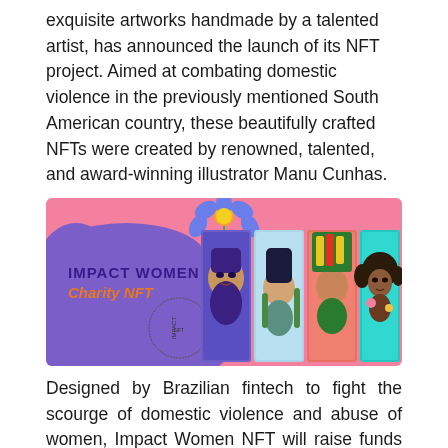exquisite artworks handmade by a talented artist, has announced the launch of its NFT project. Aimed at combating domestic violence in the previously mentioned South American country, these beautifully crafted NFTs were created by renowned, talented, and award-winning illustrator Manu Cunhas.
[Figure (illustration): Impact Women Charity NFT banner with pink background, purple decorative blob, flower, circular stamp, and four illustrated portrait artworks of diverse women by Manu Cunhas.]
Designed by Brazilian fintech to fight the scourge of domestic violence and abuse of women, Impact Women NFT will raise funds for non-profit organizations to take a stand against women's abuse on all levels.
Current statistics show that domestic violence is at an all-time high. Brazil sits fifth in the ranking of homicides